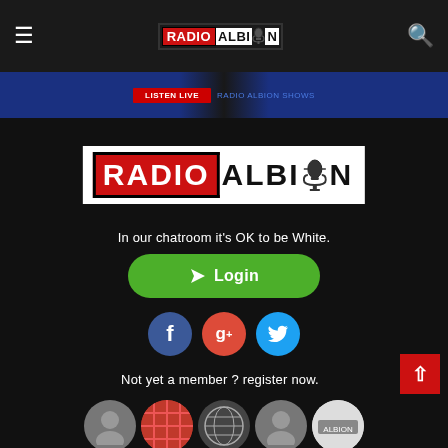Radio Albion - navigation header with hamburger menu and search icon
[Figure (screenshot): Blue banner strip with red button and blue text links]
[Figure (logo): Radio Albion logo in dark footer section - RADIO in red box, ALBION in black with microphone icon]
In our chatroom it's OK to be White.
[Figure (infographic): Green login button with send/arrow icon and text Login]
[Figure (infographic): Social media icons row: Facebook (blue), Google+ (red), Twitter (blue)]
Not yet a member ? register now.
[Figure (infographic): Row of user avatar circles at the bottom: grey silhouette, red pattern, globe/network, grey silhouette, branded icon]